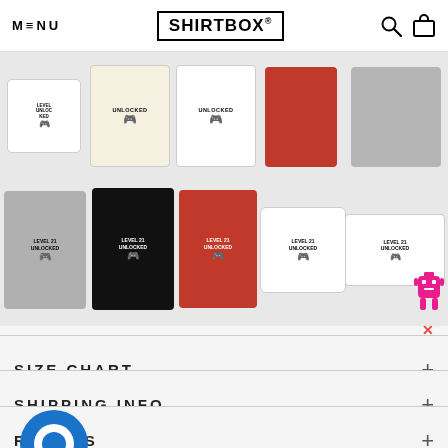MENU | SHIRTBOX® | [search icon] [cart icon]
[Figure (photo): Row of product thumbnails showing Level 21 Unlocked gaming merchandise: mug, cream drawstring bag, white drawstring bag, red item, grey sweatshirt in top row; grey sweatshirt, black long-sleeve, red t-shirt, white pillow, white pillowcase with pink robot in bottom row]
SIZE CHART
SHIPPING INFO
RETURNS